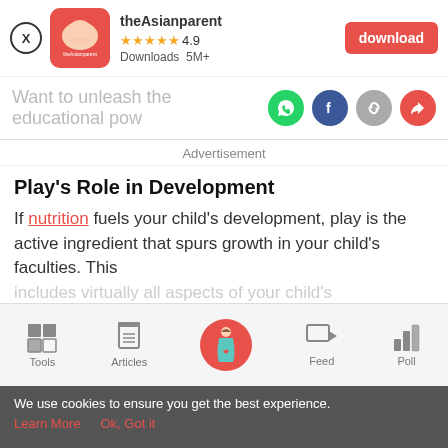[Figure (screenshot): theAsianparent app banner with logo, 4.9 star rating, 5M+ downloads, and red download button]
Want to unleash the educational pow
Advertisement
Play's Role in Development
If nutrition fuels your child's development, play is the active ingredient that spurs growth in your child's faculties. This includes virtually all aspects of your child's development:
[Figure (screenshot): Navigation bar with Tools, Articles, Home (pregnant woman icon), Feed, Poll]
We use cookies to ensure you get the best experience.
Learn More   Ok, Got it